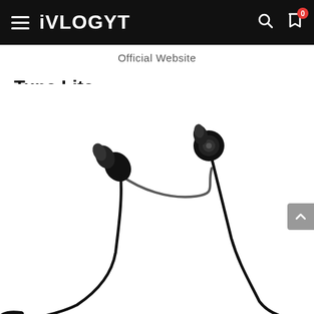iVLOGYT
Official Website
Tune Lite
[Figure (photo): Black wireless neckband earphones (Tune Lite) showing two earbuds connected by cables to a neckband collar, photographed on a white background.]